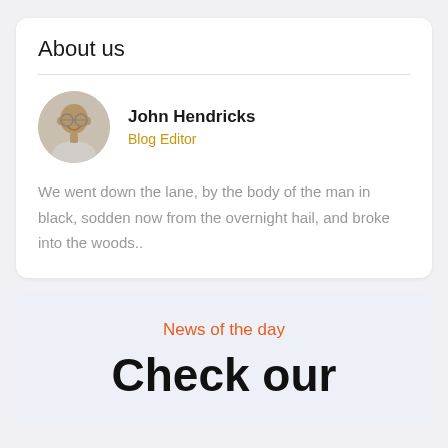About us
John Hendricks
Blog Editor
We went down the lane, by the body of the man in black, sodden now from the overnight hail, and broke into the woods..
News of the day
Check our